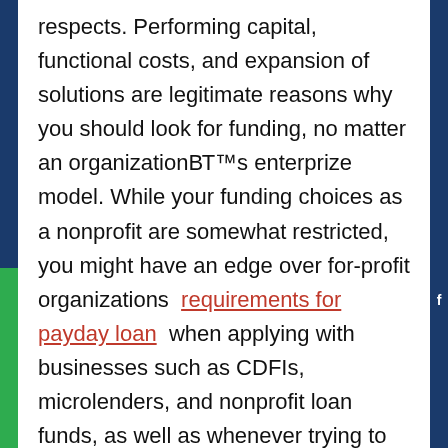respects. Performing capital, functional costs, and expansion of solutions are legitimate reasons why you should look for funding, no matter an organizationвЂ™s enterprize model. While your funding choices as a nonprofit are somewhat restricted, you might have an edge over for-profit organizations  requirements for payday loan  when applying with businesses such as CDFIs, microlenders, and nonprofit loan funds, as well as whenever trying to get federal government funds.
Has your nonprofit succeeded in getting financing? Have actually a well liked lender that is nonprofit? Sound off in the remarks!